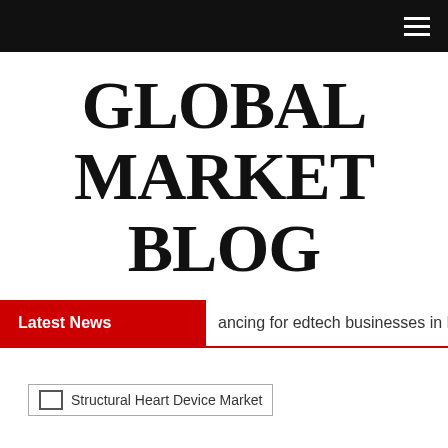≡
GLOBAL MARKET BLOG
Latest News  ancing for edtech businesses in Europe a
[Figure (other): Broken image placeholder for Structural Heart Device Market article thumbnail]